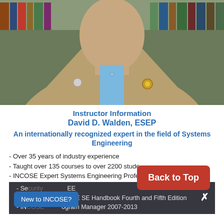[Figure (photo): Headshot photo of David D. Walden, ESEP, a man in a tan blazer and light blue shirt with lapel pins, standing in front of bookshelves]
Instructor Information
David D. Walden, ESEP
An internationally recognized expert in the field of Systems Engineering
- Over 35 years of industry experience
- Taught over 135 courses to over 2200 stude...
- INCOSE Expert Systems Engineering Profess...
- SE ... EE
- L... SE SE Handbook Fourth and Fifth Edition X
- IN... ogram Manager 2007-2013